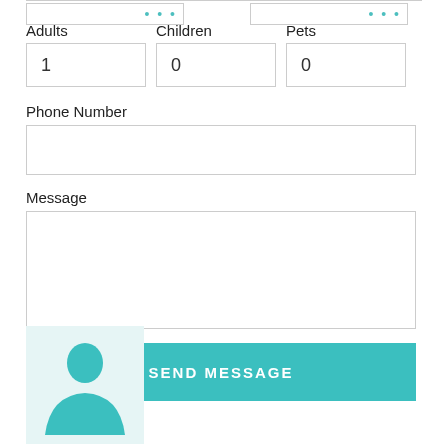Adults
Children
Pets
1
0
0
Phone Number
Message
SEND MESSAGE
[Figure (illustration): User avatar silhouette in teal on light blue background]
ALINE ROY